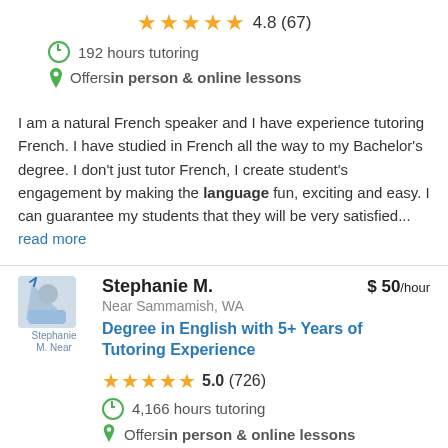4.8 (67)
192 hours tutoring
Offers in person & online lessons
I am a natural French speaker and I have experience tutoring French. I have studied in French all the way to my Bachelor's degree. I don't just tutor French, I create student's engagement by making the language fun, exciting and easy. I can guarantee my students that they will be very satisfied... read more
Stephanie M.
$ 50/hour
Near Sammamish, WA
Degree in English with 5+ Years of Tutoring Experience
5.0 (726)
4,166 hours tutoring
Offers in person & online lessons